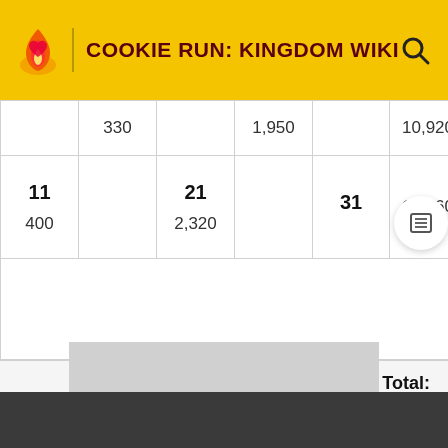COOKIE RUN: KINGDOM WIKI
|  | 330 |  | 1,950 |  | 10,920 |
| 11 | 400 | 21 | 2,320 | 31 | 12,960 |
|  |  |  |  |  |  |
Total: 5,437,570